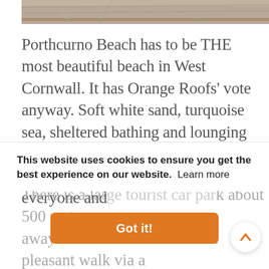[Figure (photo): Top portion of a beach photo showing sandy/rocky texture, cropped at top of page]
Porthcurno Beach has to be THE most beautiful beach in West Cornwall. It has Orange Roofs' vote anyway. Soft white sand, turquoise sea, sheltered bathing and lounging as well as wonderful snorkelling, it has so much to offer. It's a sight for everyone and ...
This website uses cookies to ensure you get the best experience on our website.  Learn more
There is a large tourist car park about 500 metres away from the beach and it's a pleasant walk via a marked footpath. The car park is run by Cornwall
Got it!